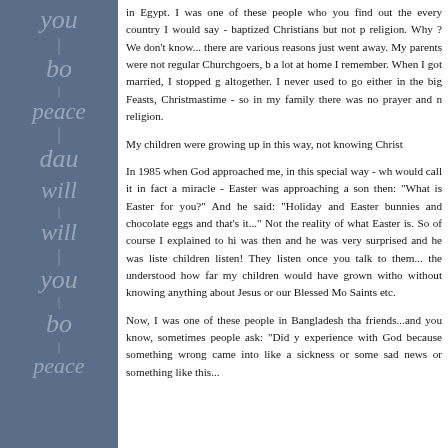[Figure (other): Blue sidebar with semi-transparent italic watermark words: you, bo, peace, dau, will, will, you, bo, peace]
in Egypt. I was one of these people who you find out the every country I would say - baptized Christians but not p religion. Why ? We don't know... there are various reasons just went away. My parents were not regular Churchgoers, b a lot at home I remember. When I got married, I stopped g altogether. I never used to go either in the big Feasts, Christmastime - so in my family there was no prayer and n religion.

My children were growing up in this way, not knowing Christ

In 1985 when God approached me, in this special way - wh would call it in fact a miracle - Easter was approaching a son then: "What is Easter for you?" And he said: "Holiday and Easter bunnies and chocolate eggs and that's it..." Not the reality of what Easter is. So of course I explained to hi was then and he was very surprised and he was liste children listen! They listen once you talk to them... the understood how far my children would have grown witho without knowing anything about Jesus or our Blessed Mo Saints etc.

Now, I was one of these people in Bangladesh tha friends...and you know, sometimes people ask: "Did y experience with God because something wrong came into like a sickness or some sad news or something like this...